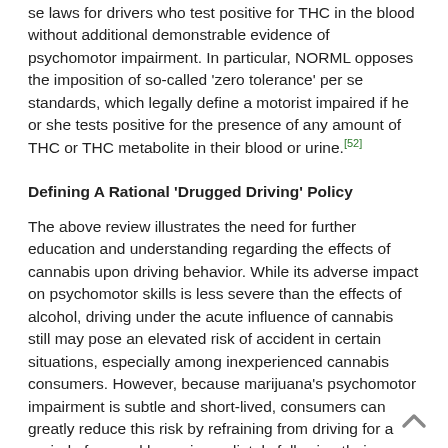For these reasons, NORML does not endorse the imposition of per se laws for drivers who test positive for THC in the blood without additional demonstrable evidence of psychomotor impairment. In particular, NORML opposes the imposition of so-called 'zero tolerance' per se standards, which legally define a motorist impaired if he or she tests positive for the presence of any amount of THC or THC metabolite in their blood or urine.[52]
Defining A Rational 'Drugged Driving' Policy
The above review illustrates the need for further education and understanding regarding the effects of cannabis upon driving behavior. While its adverse impact on psychomotor skills is less severe than the effects of alcohol, driving under the acute influence of cannabis still may pose an elevated risk of accident in certain situations, especially among inexperienced cannabis consumers. However, because marijuana's psychomotor impairment is subtle and short-lived, consumers can greatly reduce this risk by refraining from driving for a period of several hours immediately following their cannabis use.